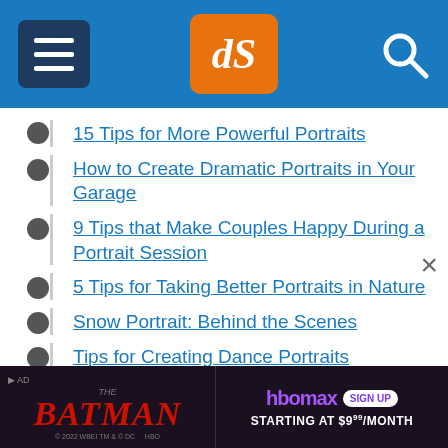dPS header navigation
15 Tips for More Powerful Portraits
How to Create Dramatic Portraits in Your Garage
9 Tips that Make Couples Happy During a Portrait Session
5 Tips for Taking Better Portraits in Nature
Snow Portrait: Behind the Scenes
Tips for Creating Dance Portraits
How to Take Better Beach Portraits at Any Time of Day
[Figure (screenshot): The Batman / HBO Max advertisement banner at the bottom]